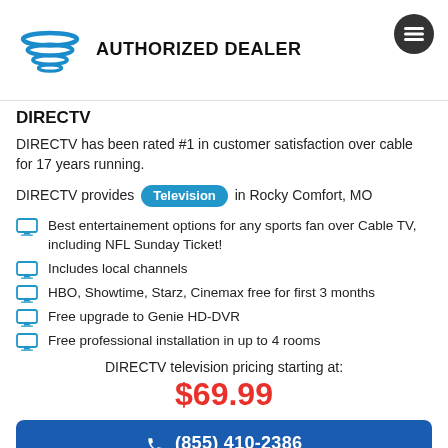[Figure (logo): AT&T / DIRECTV authorized dealer logo with blue swoosh waves and hamburger menu icon]
DIRECTV
DIRECTV has been rated #1 in customer satisfaction over cable for 17 years running.
DIRECTV provides Television in Rocky Comfort, MO
Best entertainement options for any sports fan over Cable TV, including NFL Sunday Ticket!
Includes local channels
HBO, Showtime, Starz, Cinemax free for first 3 months
Free upgrade to Genie HD-DVR
Free professional installation in up to 4 rooms
DIRECTV television pricing starting at:
$69.99
(855) 410-2386